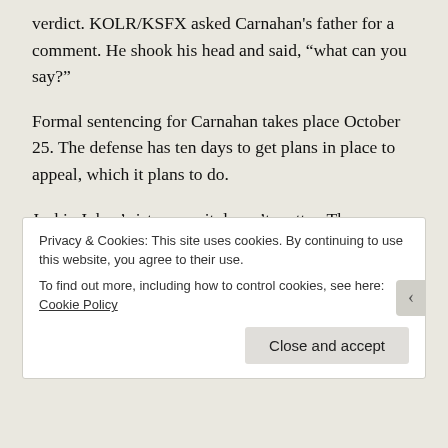verdict. KOLR/KSFX asked Carnahan's father for a comment. He shook his head and said, “what can you say?”
Formal sentencing for Carnahan takes place October 25. The defense has ten days to get plans in place to appeal, which it plans to do.
Jackie Johns’ sisters say it doesn’t matter. They recalled their mother Shirley’s words on her deathbed in 1988: “we’ll never know, we’ll never know.” The Johns family says today, we know.
For review, here are each of Emily Baucum’s reports from the courtroom this week:
Privacy & Cookies: This site uses cookies. By continuing to use this website, you agree to their use.
To find out more, including how to control cookies, see here: Cookie Policy